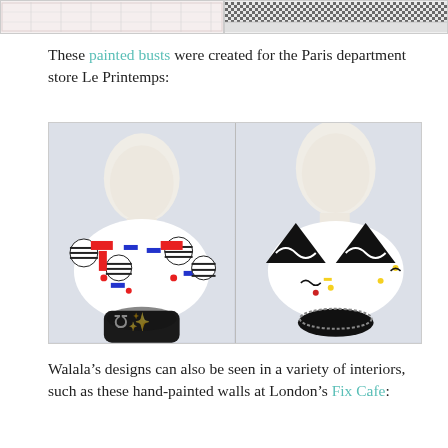[Figure (photo): Two cropped images at top of page showing decorative patterned fabric/art pieces with grid and dotted patterns in black and white]
These painted busts were created for the Paris department store Le Printemps:
[Figure (photo): Two painted bust sculptures displayed side by side. Left bust shows a collar/bib with red, blue and black geometric patterns including striped circles and rectangles. Right bust shows a collar/bib with black triangular shapes and colorful dots on white background. Both busts are classical white marble-style with the decorated collars/bibs around the neck area.]
Walala’s designs can also be seen in a variety of interiors, such as these hand-painted walls at London’s Fix Cafe: